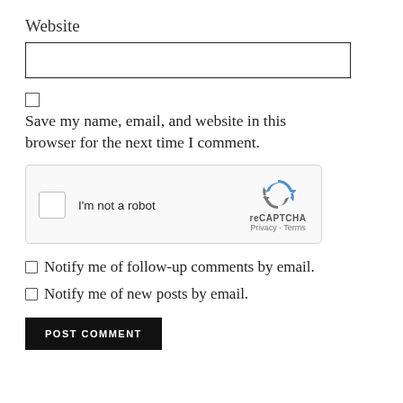Website
[Figure (screenshot): Empty text input box for website URL]
Save my name, email, and website in this browser for the next time I comment.
[Figure (screenshot): reCAPTCHA widget with checkbox labeled I'm not a robot and reCAPTCHA logo with Privacy and Terms links]
Notify me of follow-up comments by email.
Notify me of new posts by email.
POST COMMENT